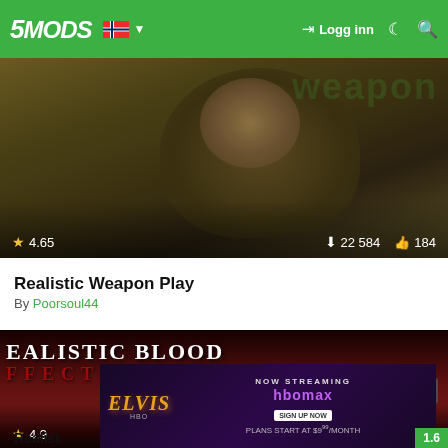5MODS — Logg inn
[Figure (screenshot): Game screenshot showing a character holding a weapon, with stats: rating 4.65, downloads 22 584, likes 184]
Realistic Weapon Play
By Poorsoul44
[Figure (screenshot): Mod thumbnail showing 'REALISTIC BLOOD EFFECTS' title over dark red background with bloody figure, rating 4.9, likes 240. Partially obscured by Elvis HBO Max advertisement banner.]
Realist...